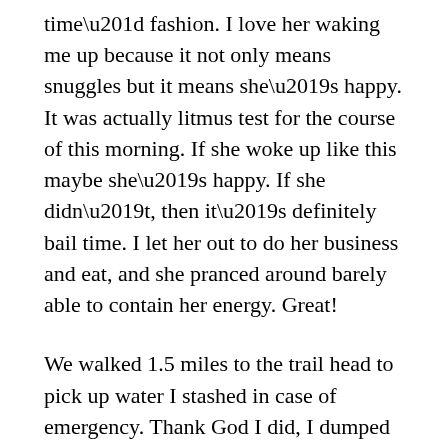time” fashion. I love her waking me up because it not only means snuggles but it means she’s happy. It was actually litmus test for the course of this morning. If she woke up like this maybe she’s happy. If she didn’t, then it’s definitely bail time. I let her out to do her business and eat, and she pranced around barely able to contain her energy. Great!
We walked 1.5 miles to the trail head to pick up water I stashed in case of emergency. Thank God I did, I dumped out water during the frantic camp break down yesterday to offload pack weight in case I had to carry Addie. With low water sources, it wasn’t my brightest move, but I was in panic mode!